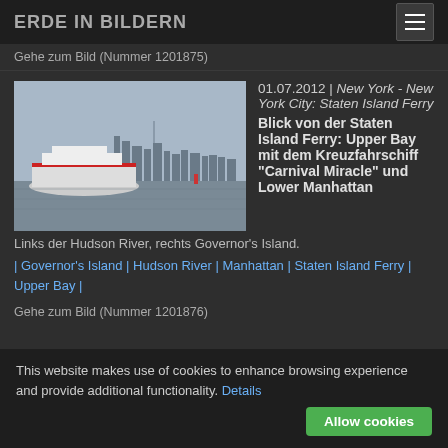ERDE IN BILDERN
Gehe zum Bild (Nummer 1201875)
[Figure (photo): A cruise ship on water with the Manhattan/New York City skyline in the background, viewed from the Staten Island Ferry.]
01.07.2012 | New York - New York City: Staten Island Ferry
Blick von der Staten Island Ferry: Upper Bay mit dem Kreuzfahrschiff "Carnival Miracle" und Lower Manhattan
Links der Hudson River, rechts Governor's Island.
| Governor's Island | Hudson River | Manhattan | Staten Island Ferry | Upper Bay |
Gehe zum Bild (Nummer 1201876)
This website makes use of cookies to enhance browsing experience and provide additional functionality. Details
Allow cookies